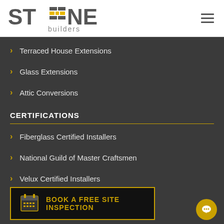[Figure (logo): Stone Builders logo — stylized text STONE with brick/grid icon replacing the O, subtitle 'builders' below]
Terraced House Extensions
Glass Extensions
Attic Conversions
CERTIFICATIONS
Fiberglass Certified Installers
National Guild of Master Craftsmen
Velux Certified Installers
BOOK A FREE SITE INSPECTION
Insulated Concrete Formwork ICF